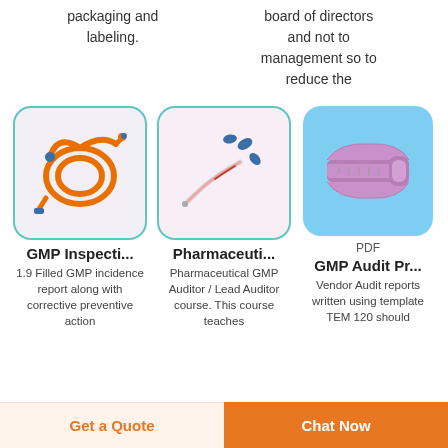packaging and labeling.
board of directors and not to management so to reduce the
[Figure (photo): Orange IV tubing/blood transfusion set coiled on white background]
[Figure (photo): Medical catheter with blue connector caps on light pink background]
[Figure (photo): Purple/lavender medical clamp on blue background, labeled PDF]
PDF
GMP Inspecti...
1.9 Filled GMP incidence report along with corrective preventive action
Pharmaceuti...
Pharmaceutical GMP Auditor / Lead Auditor course. This course teaches
GMP Audit Pr...
Vendor Audit reports written using template TEM 120 should
Get a Quote
Chat Now